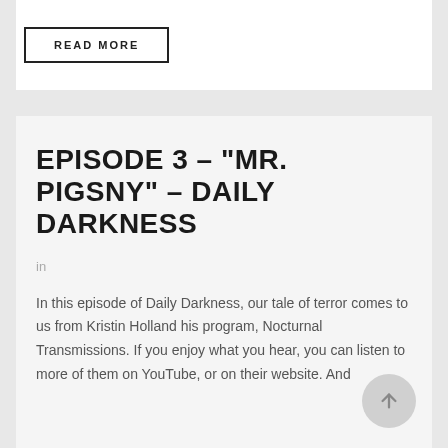READ MORE
EPISODE 3 – "MR. PIGSNY" – DAILY DARKNESS
in
In this episode of Daily Darkness, our tale of terror comes to us from Kristin Holland his program, Nocturnal Transmissions. If you enjoy what you hear, you can listen to more of them on YouTube, or on their website. And